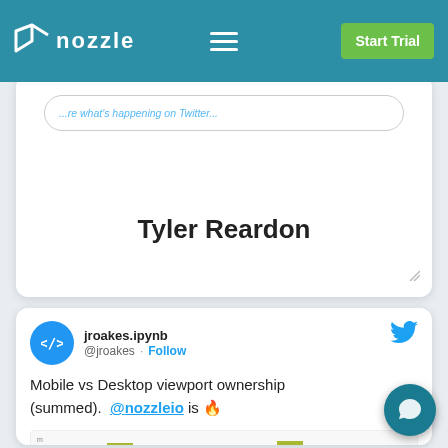nozzle — Start Trial
...re what's happening on Twitter...
Tyler Reardon
jroakes.ipynb @jroakes · Follow
Mobile vs Desktop viewport ownership (summed). @nozzleio is 🔥
[Figure (bar-chart): Stacked bar chart showing Mobile vs Desktop viewport ownership values, partially visible at bottom of page]